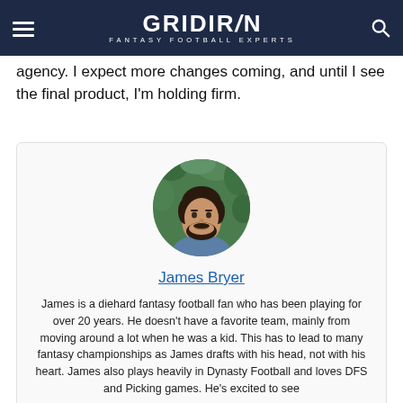GRIDIRON FANTASY FOOTBALL EXPERTS
agency. I expect more changes coming, and until I see the final product, I'm holding firm.
[Figure (photo): Circular profile photo of James Bryer, a man with dark hair and beard wearing a denim shirt, photographed against a green leafy background.]
James Bryer
James is a diehard fantasy football fan who has been playing for over 20 years. He doesn't have a favorite team, mainly from moving around a lot when he was a kid. This has to lead to many fantasy championships as James drafts with his head, not with his heart. James also plays heavily in Dynasty Football and loves DFS and Picking games. He's excited to see